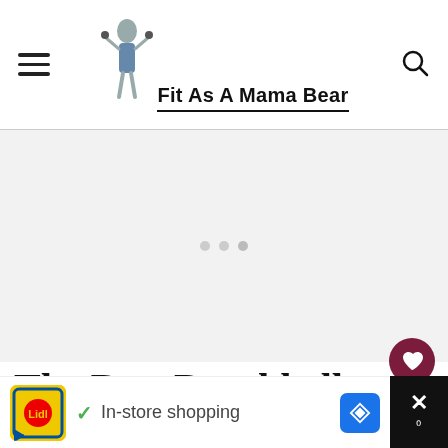Fit As A Mama Bear
[Figure (other): Advertisement placeholder area with three loading dots]
[Figure (other): Floating action buttons: heart (favorite), count 7, share]
The Best Dumbbell C…
[Figure (other): Bottom advertisement banner: Lidl logo, checkmark, In-store shopping text, blue navigation arrow, close X button]